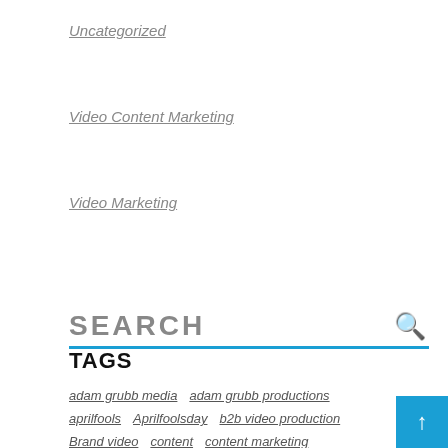Uncategorized
Video Content Marketing
Video Marketing
SEARCH
TAGS
adam grubb media   adam grubb productions
aprilfools   Aprilfoolsday   b2b video production
Brand video   content   content marketing